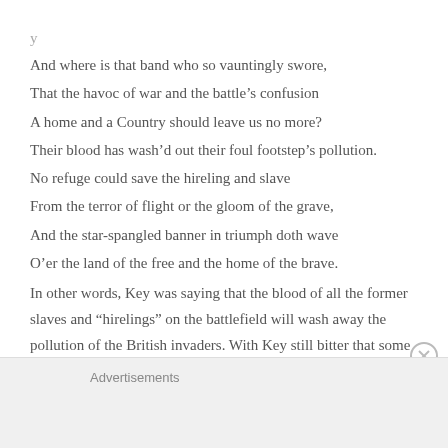And where is that band who so vauntingly swore,
That the havoc of war and the battle’s confusion
A home and a Country should leave us no more?
Their blood has wash’d out their foul footstep’s pollution.
No refuge could save the hireling and slave
From the terror of flight or the gloom of the grave,
And the star-spangled banner in triumph doth wave
O’er the land of the free and the home of the brave.
In other words, Key was saying that the blood of all the former slaves and “hirelings” on the battlefield will wash away the pollution of the British invaders. With Key still bitter that some black soldiers got the best of him a few weeks earlier, “The
Advertisements